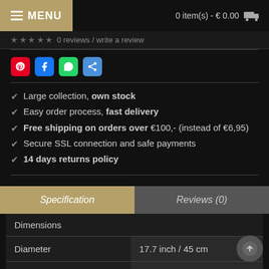MENU   0 item(s) - € 0.00
0 reviews / write a review
[Figure (other): Social share icons: Pinterest, Facebook, WhatsApp, Share]
Large collection, own stock
Easy order process, fast delivery
Free shipping on orders over €100,- (instead of €6,95)
Secure SSL connection and safe payments
14 days returns policy
| Dimensions |  |
| --- | --- |
| Diameter | 17.7 inch /  45 cm |
| Height | 17.7 inch /  45 cm |